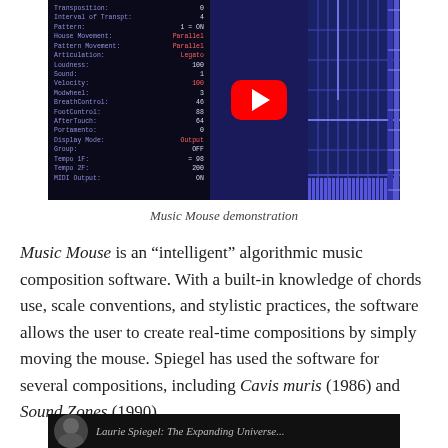[Figure (screenshot): A screenshot of Music Mouse software interface showing a dark screen with parameter settings on the left (Transposition, Interval of Transposition, Pattern, House Movement, Pattern Movement, Articulation, Loudness, Sound, Velocity, Modwheel, BreathControl, FootControl, AfterTouch, Portamento, Display Mode, Group, Tempo 1F, Tempo 2F, MIDI Output) and a blue grid on the right, with a YouTube play button overlay in the center.]
Music Mouse demonstration
Music Mouse is an “intelligent” algorithmic music composition software. With a built-in knowledge of chords use, scale conventions, and stylistic practices, the software allows the user to create real-time compositions by simply moving the mouse. Spiegel has used the software for several compositions, including Cavis muris (1986) and Sound Zones (1990).
[Figure (photo): Bottom of page shows a video thumbnail with a person's head and partial title text visible at the bottom.]